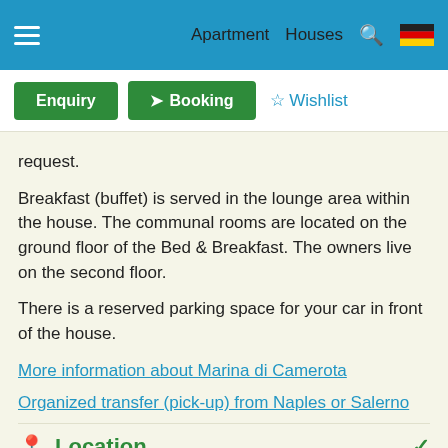Apartment  Houses
request.
Breakfast (buffet) is served in the lounge area within the house. The communal rooms are located on the ground floor of the Bed & Breakfast. The owners live on the second floor.
There is a reserved parking space for your car in front of the house.
More information about Marina di Camerota
Organized transfer (pick-up) from Naples or Salerno
Location
Pictures